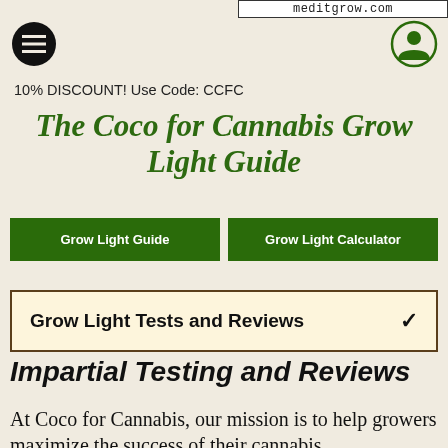meditgrow.com
10% DISCOUNT! Use Code: CCFC
The Coco for Cannabis Grow Light Guide
Grow Light Guide
Grow Light Calculator
Grow Light Tests and Reviews
Impartial Testing and Reviews
At Coco for Cannabis, our mission is to help growers maximize the success of their cannabis